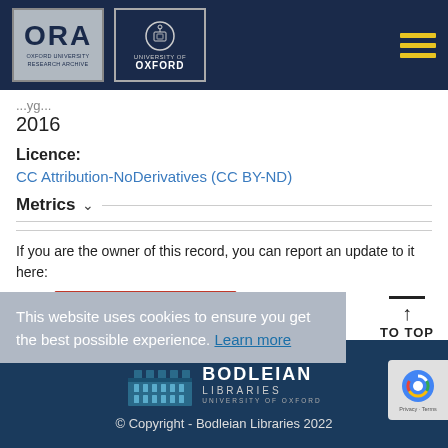ORA - Oxford University Research Archive | University of Oxford
2016
Licence:
CC Attribution-NoDerivatives (CC BY-ND)
Metrics
If you are the owner of this record, you can report an update to it here:
Report update to this record
This website uses cookies to ensure you get the best possible experience. Learn more
TO TOP
© Copyright - Bodleian Libraries 2022